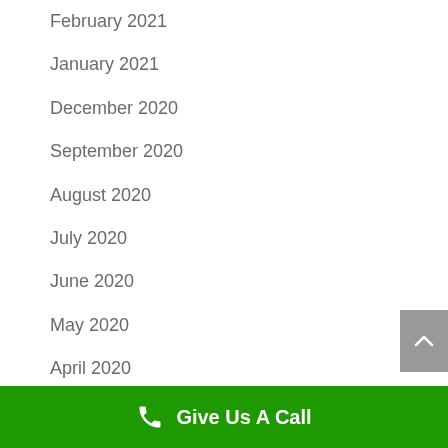February 2021
January 2021
December 2020
September 2020
August 2020
July 2020
June 2020
May 2020
April 2020
March 2020
February 2020
Give Us A Call